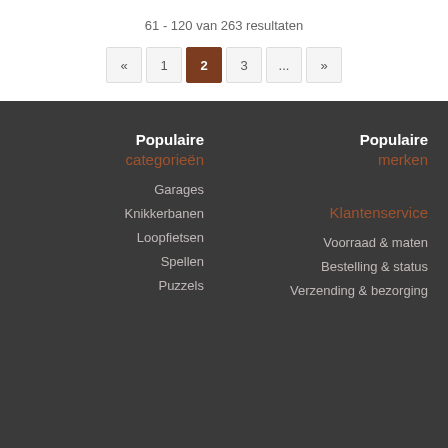61 - 120 van 263 resultaten
« 1 2 3 ... »
Populaire categorieën
Populaire merken
Garages
Knikkerbanen
Loopfietsen
Spellen
Puzzels
Klantenservice
Voorraad & maten
Bestelling & status
Verzending & bezorging